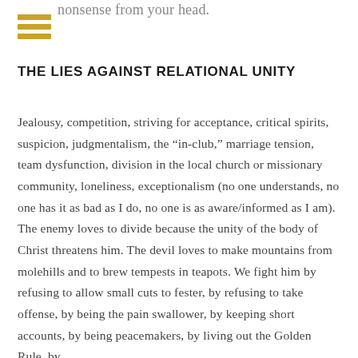nonsense from your head.
[Figure (illustration): Hamburger menu icon with three horizontal gold/yellow bars]
THE LIES AGAINST RELATIONAL UNITY
Jealousy, competition, striving for acceptance, critical spirits, suspicion, judgmentalism, the “in-club,” marriage tension, team dysfunction, division in the local church or missionary community, loneliness, exceptionalism (no one understands, no one has it as bad as I do, no one is as aware/informed as I am). The enemy loves to divide because the unity of the body of Christ threatens him. The devil loves to make mountains from molehills and to brew tempests in teapots. We fight him by refusing to allow small cuts to fester, by refusing to take offense, by being the pain swallower, by keeping short accounts, by being peacemakers, by living out the Golden Rule, by